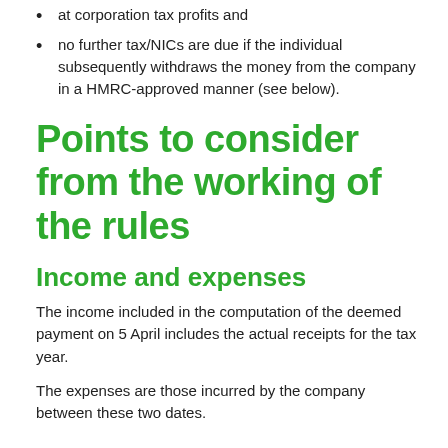at corporation tax profits and
no further tax/NICs are due if the individual subsequently withdraws the money from the company in a HMRC-approved manner (see below).
Points to consider from the working of the rules
Income and expenses
The income included in the computation of the deemed payment on 5 April includes the actual receipts for the tax year.
The expenses are those incurred by the company between these two dates.